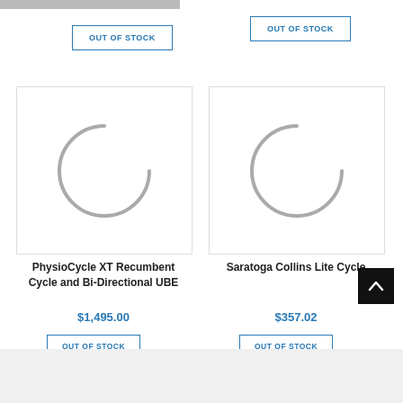[Figure (screenshot): Gray top bar partially visible at top of page]
OUT OF STOCK
OUT OF STOCK
[Figure (illustration): Loading spinner arc circle for PhysioCycle XT product image]
[Figure (illustration): Loading spinner arc circle for Saratoga Collins Lite Cycle product image]
PhysioCycle XT Recumbent Cycle and Bi-Directional UBE
$1,495.00
OUT OF STOCK
Saratoga Collins Lite Cycle
$357.02
OUT OF STOCK